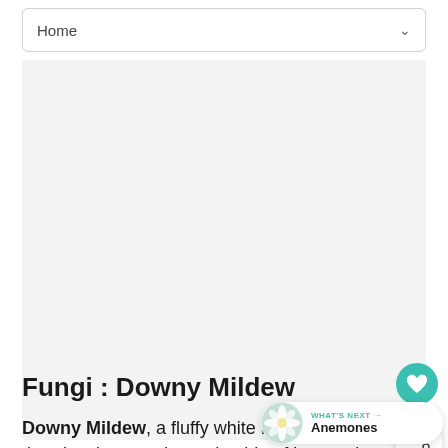Home
[Figure (other): Advertisement or placeholder gray area]
Fungi : Downy Mildew
Downy Mildew, a fluffy white fungal growth that develops on the underside of leaves, is most common during cool, humid conditions. Foliage often discolors and is stunted.